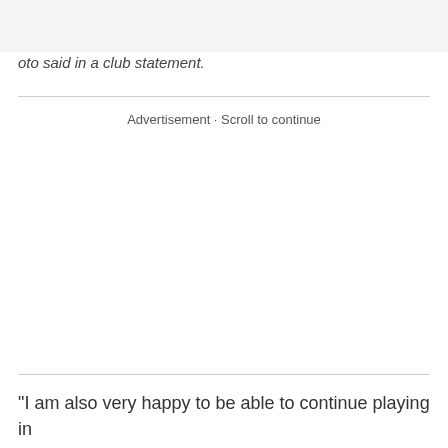oto said in a club statement.
Advertisement · Scroll to continue
"I am also very happy to be able to continue playing in